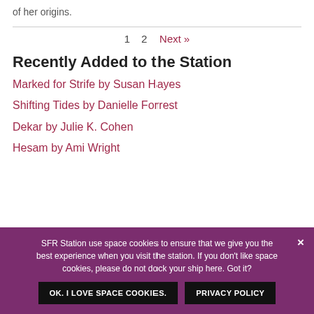of her origins.
1   2   Next »
Recently Added to the Station
Marked for Strife by Susan Hayes
Shifting Tides by Danielle Forrest
Dekar by Julie K. Cohen
Hesam by Ami Wright
SFR Station use space cookies to ensure that we give you the best experience when you visit the station. If you don't like space cookies, please do not dock your ship here. Got it?
OK. I LOVE SPACE COOKIES.   PRIVACY POLICY